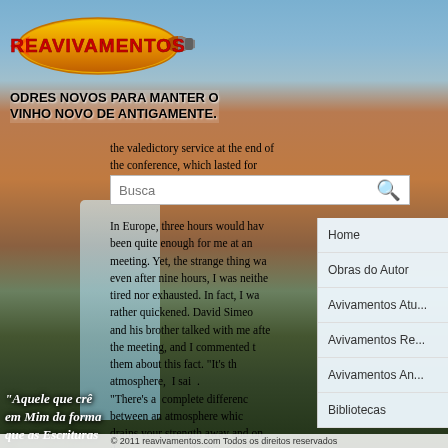[Figure (logo): Reavivamentos logo — yellow/orange comet shape with red text 'REAVIVAMENTOS' and rocket tail, on sky/cloud background]
ODRES NOVOS PARA MANTER O VINHO NOVO DE ANTIGAMENTE.
the valedictory service at the end of the conference, which lasted for more than [...]
In Europe, three hours would have been quite enough for me at any meeting. Yet, the strange thing was even after nine hours, I was neither tired nor exhausted. In fact, I was rather quickened. David Simeon and his brother talked with me after the meeting, and I commented to them about this fact. "It's the atmosphere," I said. "There's a complete difference between an atmosphere which drains your strength away and one that renews it. In the West, many missionary conferences, instead of quickening a person, have an atmosphere about them which leaves one exhausted afterwards."
Home
Obras do Autor
Avivamentos Atu...
Avivamentos Re...
Avivamentos An...
Bibliotecas
"Aquele que crê em Mim da forma que as Escrituras dizem, rios de água viva fluirão de seu ventre João 7:38
© 2011 reavivamentos.com Todos os direitos reservados